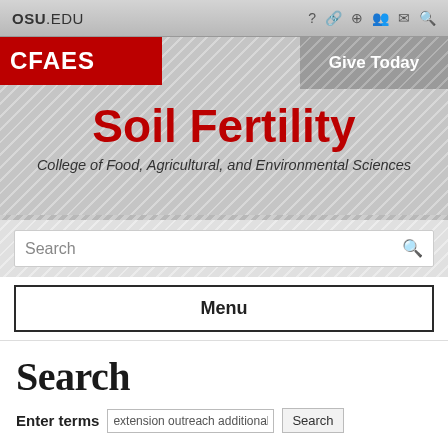OSU.EDU
[Figure (logo): CFAES red logo banner and Give Today button in header area with diagonal striped background]
Soil Fertility
College of Food, Agricultural, and Environmental Sciences
Search
Menu
Search
Enter terms  extension outreach additional  Search